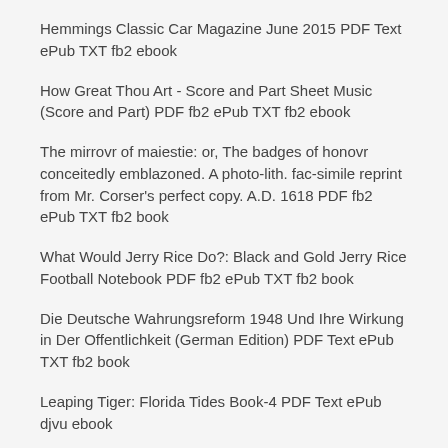Hemmings Classic Car Magazine June 2015 PDF Text ePub TXT fb2 ebook
How Great Thou Art - Score and Part Sheet Music (Score and Part) PDF fb2 ePub TXT fb2 ebook
The mirrovr of maiestie: or, The badges of honovr conceitedly emblazoned. A photo-lith. fac-simile reprint from Mr. Corser's perfect copy. A.D. 1618 PDF fb2 ePub TXT fb2 book
What Would Jerry Rice Do?: Black and Gold Jerry Rice Football Notebook PDF fb2 ePub TXT fb2 book
Die Deutsche Wahrungsreform 1948 Und Ihre Wirkung in Der Offentlichkeit (German Edition) PDF Text ePub TXT fb2 book
Leaping Tiger: Florida Tides Book-4 PDF Text ePub djvu ebook
Express Learning: Computer Organization and Architecture PDF fb2 ePub TXT fb2 book